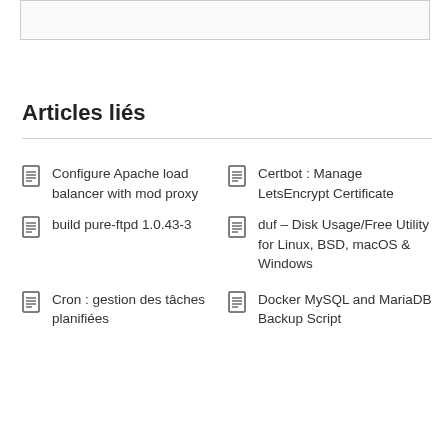[Figure (other): Light gray bordered box at top of page]
Articles liés
Configure Apache load balancer with mod proxy
Certbot : Manage LetsEncrypt Certificate
build pure-ftpd 1.0.43-3
duf – Disk Usage/Free Utility for Linux, BSD, macOS & Windows
Cron : gestion des tâches planifiées
Docker MySQL and MariaDB Backup Script